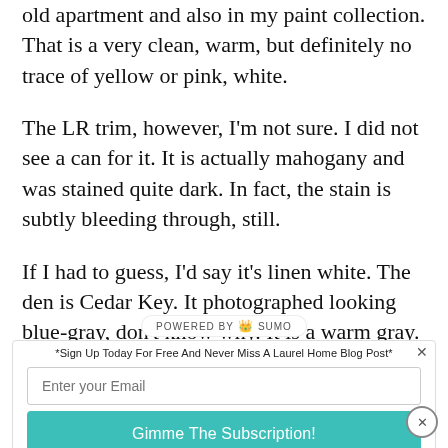old apartment and also in my paint collection. That is a very clean, warm, but definitely no trace of yellow or pink, white.
The LR trim, however, I'm not sure. I did not see a can for it. It is actually mahogany and was stained quite dark. In fact, the stain is subtly bleeding through, still.
If I had to guess, I'd say it's linen white. The den is Cedar Key. It photographed looking blue-gray, don't know why. It is a warm gray. No hint of blue
*Sign Up Today For Free And Never Miss A Laurel Home Blog Post*
Enter your Email
Gimme The Subscription!